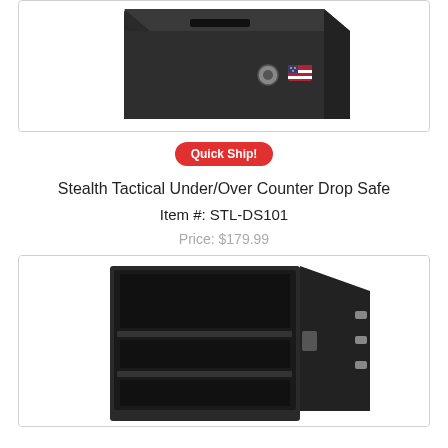[Figure (photo): Black Stealth Tactical Under/Over Counter Drop Safe shown from above at an angle, closed, with keyhole and American flag sticker visible on the front face.]
Quick Ship!
Stealth Tactical Under/Over Counter Drop Safe
Item #: STL-DS101
Price: $179.99
[Figure (photo): Black safe shown open with door ajar, revealing interior shelves and locking bolts on the door side.]